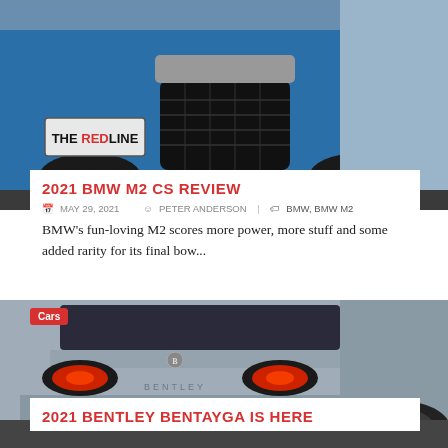[Figure (photo): Blue BMW M2 CS front grille and bumper closeup with 'THE REDLINE' logo plate on left side]
2021 BMW M2 CS REVIEW
MAY 29, 2021   PETER ANDERSON   BMW, BMW M2
BMW's fun-loving M2 scores more power, more stuff and some added rarity for its final bow...
[Figure (photo): Silver Bentley Bentayga rear view with red tail lights, 'New Bentayga' placard visible, 'Cars' badge overlay]
2021 BENTLEY BENTAYGA IS HERE